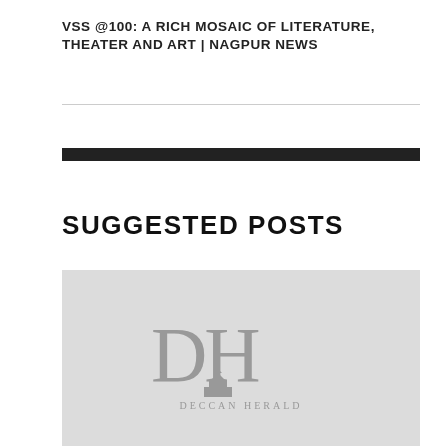VSS @100: A RICH MOSAIC OF LITERATURE, THEATER AND ART | NAGPUR NEWS
SUGGESTED POSTS
[Figure (logo): Deccan Herald logo placeholder image on light gray background. Large 'DH' letters in serif font with 'DECCAN HERALD' text below a small emblem.]